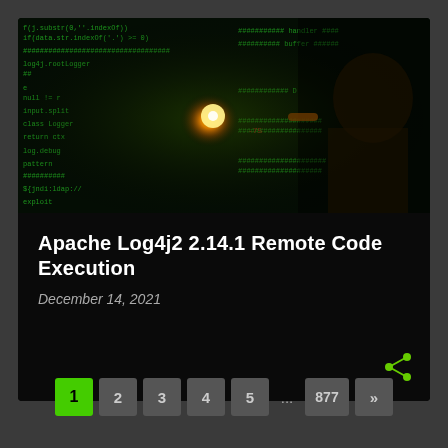[Figure (photo): Hacker/cybersecurity themed image showing a person's silhouette against a green matrix-style code background with a glowing orange light in the center]
Apache Log4j2 2.14.1 Remote Code Execution
December 14, 2021
1 2 3 4 5 ... 877 »